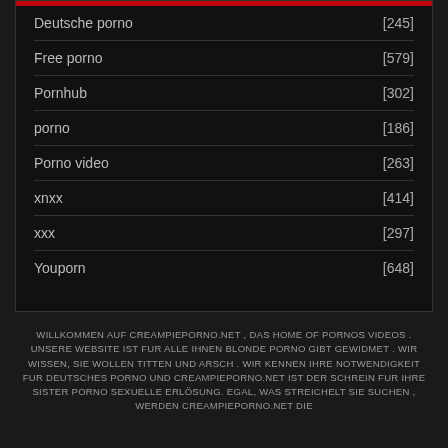Deutsche porno [245]
Free porno [579]
Pornhub [302]
porno [186]
Porno video [263]
xnxx [414]
xxx [297]
Youporn [648]
WILLKOMMEN AUF CREAMPIEPORNO.NET , DAS HOME OF PORNOS VIDEOS . UNSERE WEBSITE IST FUR ALLE IHNEN BLONDE PORNO GIBT GEWIDMET . WIR WISSEN, SIE WOLLEN TITTEN UND ARSCH . WIR KENNEN IHRE NOTWENDIGKEIT FUR DEUTSCHES PORNO UND CREAMPIEPORNO.NET IST DER SCHREIN FUR IHRE SISTER PORNO SEXUELLE ERLÖSUNG. EGAL, WAS STREICHELT SIE SUCHEN , WERDEN CREAMPIEPORNO.NET DIE